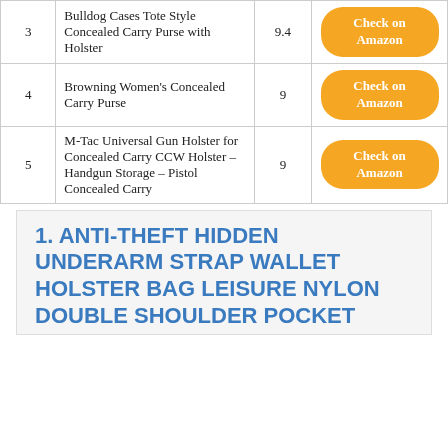| # | Product | Score | Link |
| --- | --- | --- | --- |
| 3 | Bulldog Cases Tote Style Concealed Carry Purse with Holster | 9.4 | Check on Amazon |
| 4 | Browning Women's Concealed Carry Purse | 9 | Check on Amazon |
| 5 | M-Tac Universal Gun Holster for Concealed Carry CCW Holster – Handgun Storage – Pistol Concealed Carry | 9 | Check on Amazon |
1. ANTI-THEFT HIDDEN UNDERARM STRAP WALLET HOLSTER BAG LEISURE NYLON DOUBLE SHOULDER POCKET